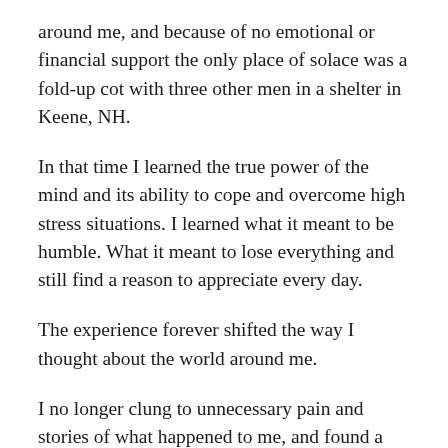around me, and because of no emotional or financial support the only place of solace was a fold-up cot with three other men in a shelter in Keene, NH.
In that time I learned the true power of the mind and its ability to cope and overcome high stress situations. I learned what it meant to be humble. What it meant to lose everything and still find a reason to appreciate every day.
The experience forever shifted the way I thought about the world around me.
I no longer clung to unnecessary pain and stories of what happened to me, and found a new inspiration I called saying yes to rock bottom. Through my own trauma I was able to find the silver lining in the midst of disaster, and it inspired me to get back into school and help others realize their own full potential - no matter what life presented to them.